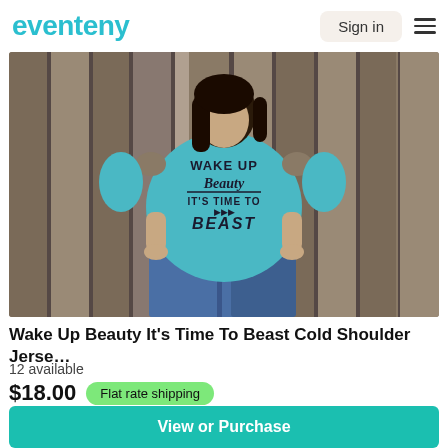eventeny
[Figure (photo): Woman wearing a blue cold-shoulder jersey t-shirt with text 'Wake Up Beauty It's Time To Beast' standing in front of a wooden fence, wearing blue jeans.]
Wake Up Beauty It's Time To Beast Cold Shoulder Jerse…
12 available
$18.00  Flat rate shipping
View or Purchase